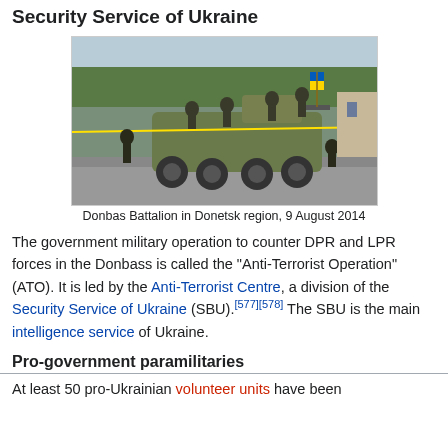Security Service of Ukraine
[Figure (photo): Donbas Battalion armored vehicles and soldiers in Donetsk region, 9 August 2014]
Donbas Battalion in Donetsk region, 9 August 2014
The government military operation to counter DPR and LPR forces in the Donbass is called the "Anti-Terrorist Operation" (ATO). It is led by the Anti-Terrorist Centre, a division of the Security Service of Ukraine (SBU).[577][578] The SBU is the main intelligence service of Ukraine.
Pro-government paramilitaries
At least 50 pro-Ukrainian volunteer units have been